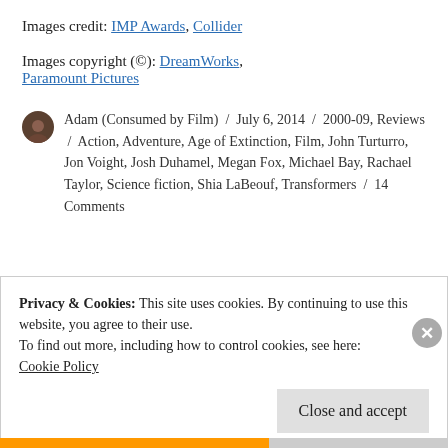Images credit: IMP Awards, Collider
Images copyright (©): DreamWorks, Paramount Pictures
Adam (Consumed by Film) / July 6, 2014 / 2000-09, Reviews / Action, Adventure, Age of Extinction, Film, John Turturro, Jon Voight, Josh Duhamel, Megan Fox, Michael Bay, Rachael Taylor, Science fiction, Shia LaBeouf, Transformers / 14 Comments
Privacy & Cookies: This site uses cookies. By continuing to use this website, you agree to their use.
To find out more, including how to control cookies, see here:
Cookie Policy
Close and accept